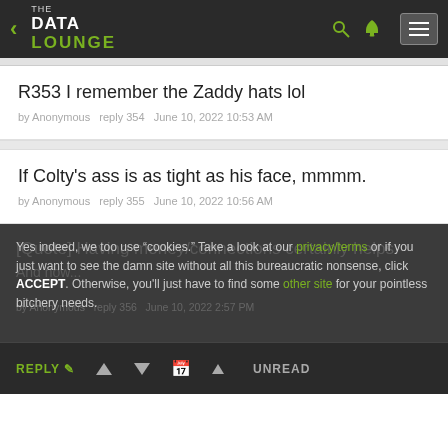THE DATA LOUNGE
R353 I remember the Zaddy hats lol
by Anonymous   reply 354   June 10, 2022 10:53 AM
If Colty's ass is as tight as his face, mmmm.
by Anonymous   reply 355   June 10, 2022 10:56 AM
[Quote] Having money/connections certainly helps. And now...
by Anonymous   reply 356   June 10, 2022 2:57 PM
Yes indeed, we too use "cookies." Take a look at our privacy/terms or if you just want to see the damn site without all this bureaucratic nonsense, click ACCEPT. Otherwise, you'll just have to find some other site for your pointless bitchery needs.
REPLY  ▲  ▼  UNREAD